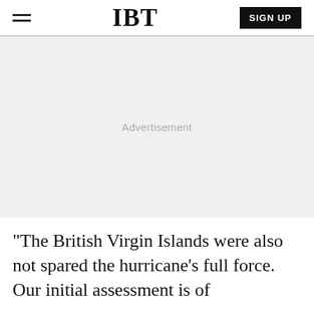IBT
[Figure (other): Advertisement placeholder block with light gray background and centered 'Advertisement' label]
"The British Virgin Islands were also not spared the hurricane's full force. Our initial assessment is of